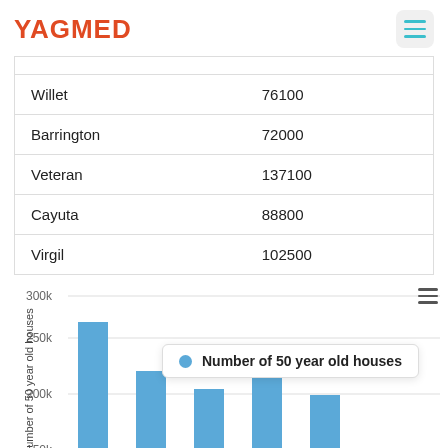YAGMED
|  |  |
| --- | --- |
| Willet | 76100 |
| Barrington | 72000 |
| Veteran | 137100 |
| Cayuta | 88800 |
| Virgil | 102500 |
[Figure (bar-chart): Number of 50 year old houses]